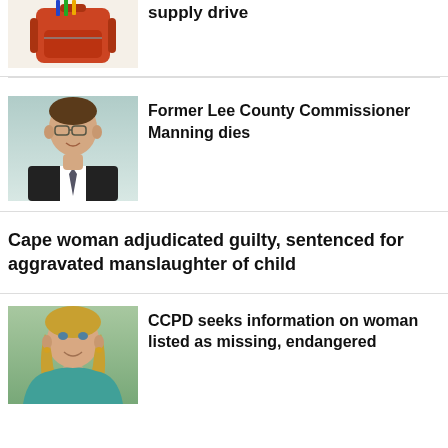[Figure (photo): Partial view of a backpack with school supplies]
supply drive
[Figure (photo): Headshot of a man in a suit and tie, wearing glasses]
Former Lee County Commissioner Manning dies
Cape woman adjudicated guilty, sentenced for aggravated manslaughter of child
[Figure (photo): Headshot of a blonde woman in a teal top]
CCPD seeks information on woman listed as missing, endangered